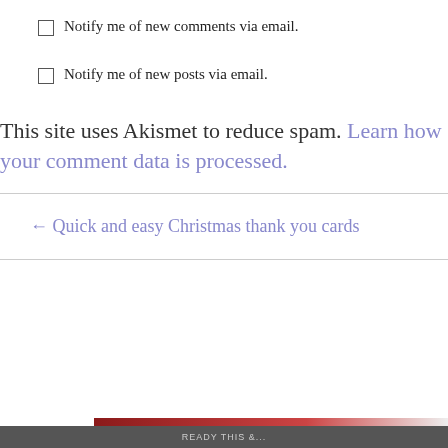Notify me of new comments via email.
Notify me of new posts via email.
This site uses Akismet to reduce spam. Learn how your comment data is processed.
← Quick and easy Christmas thank you cards
Privacy & Cookies: This site uses cookies. By continuing to use this website, you agree to their use.
To find out more, including how to control cookies, see here: Cookie Policy
Close and accept